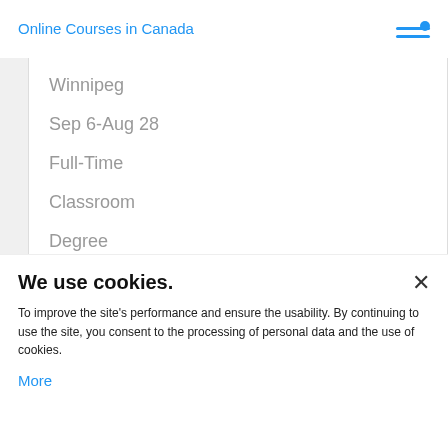Online Courses in Canada
Winnipeg
Sep 6-Aug 28
Full-Time
Classroom
Degree
1877
Yes
We use cookies.
To improve the site's performance and ensure the usability. By continuing to use the site, you consent to the processing of personal data and the use of cookies.
More